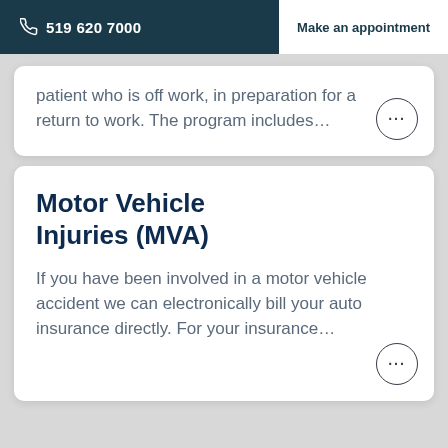519 620 7000   Make an appointment
patient who is off work, in preparation for a return to work. The program includes…
Motor Vehicle Injuries (MVA)
If you have been involved in a motor vehicle accident we can electronically bill your auto insurance directly. For your insurance…